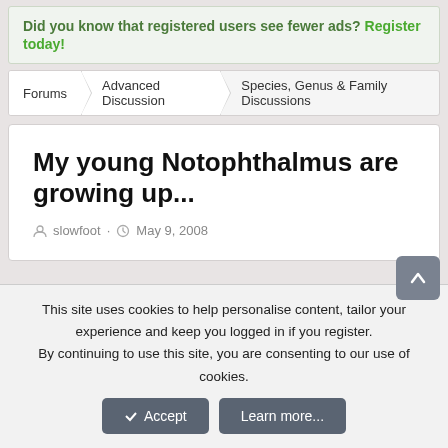Did you know that registered users see fewer ads? Register today!
Forums > Advanced Discussion > Species, Genus & Family Discussions
My young Notophthalmus are growing up...
slowfoot · May 9, 2008
This site uses cookies to help personalise content, tailor your experience and keep you logged in if you register. By continuing to use this site, you are consenting to our use of cookies.
✓ Accept | Learn more...